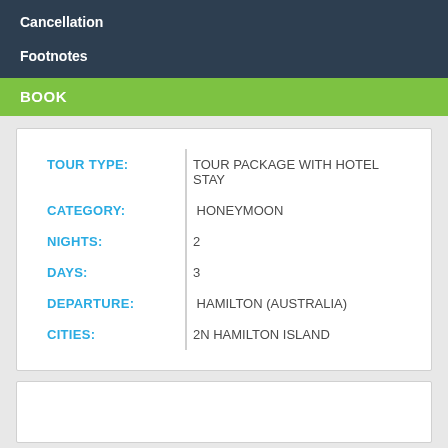Cancellation
Footnotes
BOOK
| Field | Value |
| --- | --- |
| TOUR TYPE: | TOUR PACKAGE WITH HOTEL STAY |
| CATEGORY: | HONEYMOON |
| NIGHTS: | 2 |
| DAYS: | 3 |
| DEPARTURE: | HAMILTON (AUSTRALIA) |
| CITIES: | 2N HAMILTON ISLAND |